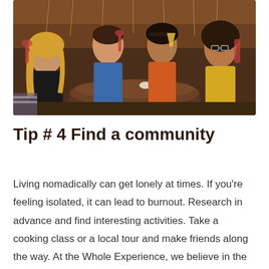[Figure (photo): Four young people smiling and raising drinks at a rustic wooden table in a restaurant or bar setting with natural decor in the background.]
Tip # 4 Find a community
Living nomadically can get lonely at times. If you're feeling isolated, it can lead to burnout. Research in advance and find interesting activities. Take a cooking class or a local tour and make friends along the way. At the Whole Experience, we believe in the power of travel in creating a sense of community and